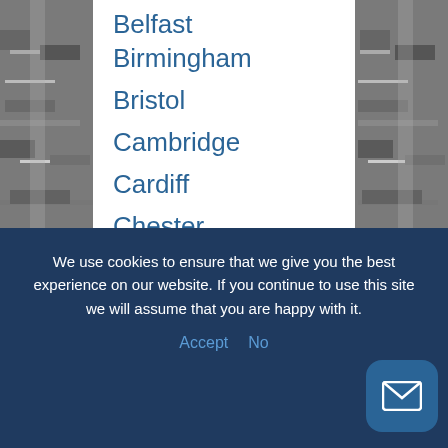[Figure (photo): Aerial grayscale photograph of a city/urban area with roads and buildings visible on left and right sides behind a white center panel]
Belfast
Birmingham
Bristol
Cambridge
Cardiff
Chester
Coventry
Derby
Douglas (IoM)
Edinburgh
Glasgow
Leicester
We use cookies to ensure that we give you the best experience on our website. If you continue to use this site we will assume that you are happy with it.
Accept   No